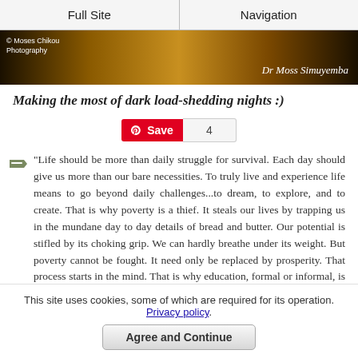Full Site | Navigation
[Figure (photo): Dark banner photo with golden light, credited to Moses Chikou Photography and Dr. Moss Simuyemba]
Making the most of dark load-shedding nights :)
Save 4
“Life should be more than daily struggle for survival. Each day should give us more than our bare necessities. To truly live and experience life means to go beyond daily challenges...to dream, to explore, and to create. That is why poverty is a thief. It steals our lives by trapping us in the mundane day to day details of bread and butter. Our potential is stifled by its choking grip. We can hardly breathe under its weight. But poverty cannot be fought. It need only be replaced by prosperity. That process starts in the mind. That is why education, formal or informal, is important. That is why we must continually show the possibilities to those that are stuck in poverty’s grip...possibilities for their lives...possibilities for their
This site uses cookies, some of which are required for its operation. Privacy policy. Agree and Continue